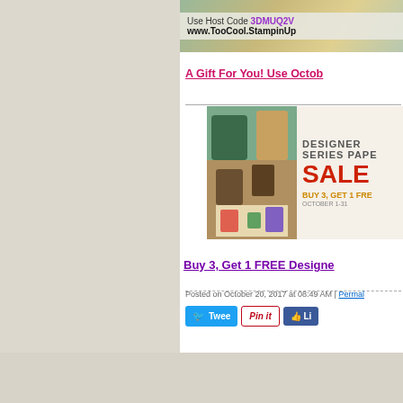[Figure (screenshot): Banner image for TooCool StampinUp with decorative background and text: Use Host Code 3DMUQ2V, www.TooCool.StampinUp]
A Gift For You! Use Octob
[Figure (screenshot): Designer Series Paper Sale promotional image - Buy 3, Get 1 Free, October 1-31]
Buy 3, Get 1 FREE Designe
Posted on October 20, 2017 at 08:49 AM | Permal
Tweet | Pin it | Like